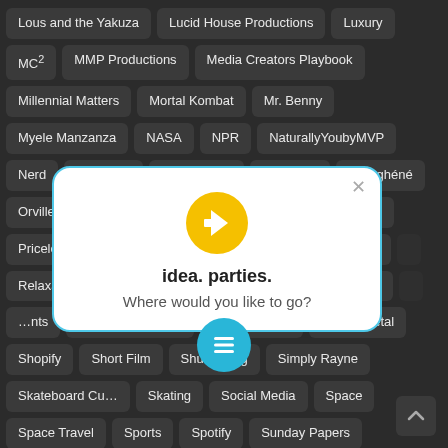Lous and the Yakuza
Lucid House Productions
Luxury
MC²
MMP Productions
Media Creators Playbook
Millennial Matters
Mortal Kombat
Mr. Benny
Myele Manzanza
NASA
NPR
NaturallyYoubyMVP
Nerd
New York
Nigerian XO
Old Youth
Omoghéné
Orville
Painting
Peacock
Politics
Pop Culture
Priceless Scenery
Progrés Studios
Project Forward…
Project Forward…
Relaxation
Religion
Re…
…nts
San Antonio Cu…
Shane Farber
Sherril Metal
Shopify
Short Film
Shuler King
Simply Rayne
Skateboard Cu…
Skating
Social Media
Space
Space Travel
Sports
Spotify
Sunday Papers
Sunny Rajput
Sunny Salutations
Syndication
Talli Tattii
[Figure (other): Modal popup with yellow arrow-circle icon, title 'idea. parties.' and subtitle 'Where would you like to go?']
[Figure (other): Cyan circular FAB button with list/menu icon]